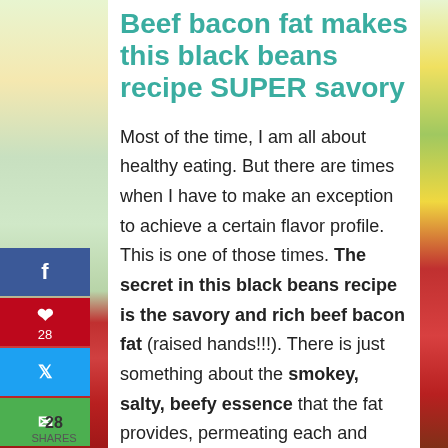Beef bacon fat makes this black beans recipe SUPER savory
Most of the time, I am all about healthy eating. But there are times when I have to make an exception to achieve a certain flavor profile. This is one of those times. The secret in this black beans recipe is the savory and rich beef bacon fat (raised hands!!!). There is just something about the smokey, salty, beefy essence that the fat provides, permeating each and every bean to make them extra